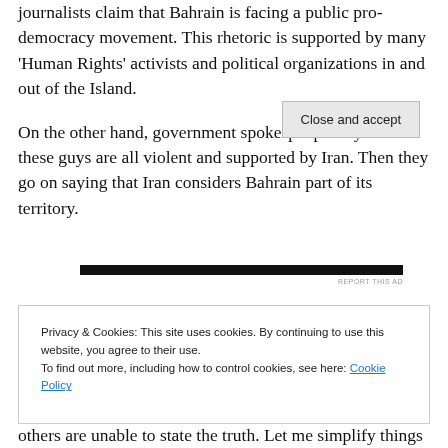journalists claim that Bahrain is facing a public pro-democracy movement. This rhetoric is supported by many 'Human Rights' activists and political organizations in and out of the Island.
On the other hand, government spokespeople say that these guys are all violent and supported by Iran. Then they go on saying that Iran considers Bahrain part of its territory.
REPORT THIS AD
Privacy & Cookies: This site uses cookies. By continuing to use this website, you agree to their use.
To find out more, including how to control cookies, see here: Cookie Policy
Close and accept
others are unable to state the truth. Let me simplify things